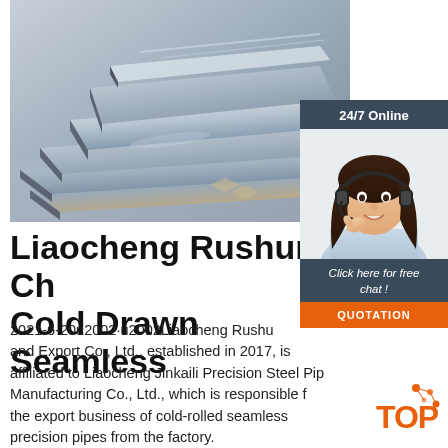[Figure (photo): Stacked steel flat bars/plates in metallic blue-grey tones, photographed from an angle]
[Figure (infographic): 24/7 Online chat widget showing a female customer service representative with headset, 'Click here for free chat!' text and orange QUOTATION button]
Liaocheng Rushun - Ch Cold Drawn Seamless
2021-6-20u2002·u2002Liaocheng Rushun Import and Export Co., Ltd., established in 2017, is affiliated to Liaocheng Jinkaili Precision Steel Pipe Manufacturing Co., Ltd., which is responsible for the export business of cold-rolled seamless precision pipes from the factory.
[Figure (logo): TOP logo with orange text and molecules/dots graphic]